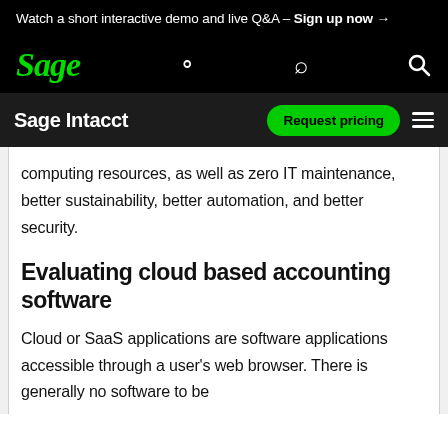Watch a short interactive demo and live Q&A – Sign up now →
[Figure (logo): Sage logo (green italic text) with search icon on black background]
Sage Intacct | Request pricing
computing resources, as well as zero IT maintenance, better sustainability, better automation, and better security.
Evaluating cloud based accounting software
Cloud or SaaS applications are software applications accessible through a user's web browser. There is generally no software to be installed on the user's computer.